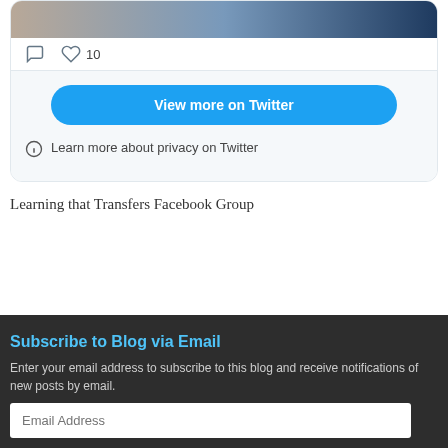[Figure (screenshot): Twitter/X embedded card showing a photo of a person, comment and like icons with count of 10, a 'View more on Twitter' button, and a 'Learn more about privacy on Twitter' notice]
Learning that Transfers Facebook Group
Subscribe to Blog via Email
Enter your email address to subscribe to this blog and receive notifications of new posts by email.
Email Address